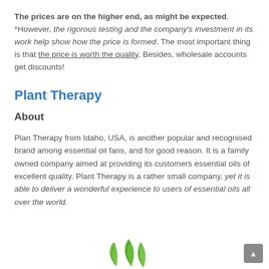The prices are on the higher end, as might be expected. *However, the rigorous testing and the company's investment in its work help show how the price is formed. The most important thing is that the price is worth the quality. Besides, wholesale accounts get discounts!
Plant Therapy
About
Plan Therapy from Idaho, USA, is another popular and recognised brand among essential oil fans, and for good reason. It is a family owned company aimed at providing its customers essential oils of excellent quality. Plant Therapy is a rather small company, yet it is able to deliver a wonderful experience to users of essential oils all over the world.
[Figure (logo): Green leaf logo for Plant Therapy brand, partially visible at bottom of page]